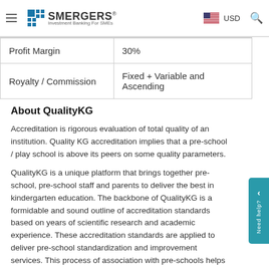SMERGERS® Investment Banking For SMEs | USD
| Profit Margin | 30% |
| Royalty / Commission | Fixed + Variable and Ascending |
About QualityKG
Accreditation is rigorous evaluation of total quality of an institution. Quality KG accreditation implies that a pre-school / play school is above its peers on some quality parameters.
QualityKG is a unique platform that brings together pre-school, pre-school staff and parents to deliver the best in kindergarten education. The backbone of QualityKG is a formidable and sound outline of accreditation standards based on years of scientific research and academic experience. These accreditation standards are applied to deliver pre-school standardization and improvement services. This process of association with pre-schools helps in developing and installing a self-improvement protocol in pre-schools.